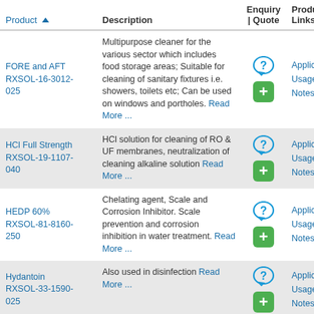| Product | Description | Enquiry | Quote | Product Links |
| --- | --- | --- | --- |
| FORE and AFT RXSOL-16-3012-025 | Multipurpose cleaner for the various sector which includes food storage areas; Suitable for cleaning of sanitary fixtures i.e. showers, toilets etc; Can be used on windows and portholes. Read More ... | [icons] | Application Usage Notes |
| HCl Full Strength RXSOL-19-1107-040 | HCl solution for cleaning of RO & UF membranes, neutralization of cleaning alkaline solution Read More ... | [icons] | Application Usage Notes |
| HEDP 60% RXSOL-81-8160-250 | Chelating agent, Scale and Corrosion Inhibitor. Scale prevention and corrosion inhibition in water treatment. Read More ... | [icons] | Application Usage Notes |
| Hydantoin RXSOL-33-1590-025 | Also used in disinfection Read More ... | [icons] | Application Usage Notes |
| Hydrazine Hydrate | Most common applications is in pharmaceuticals, water treatment. | [icons] | Application |